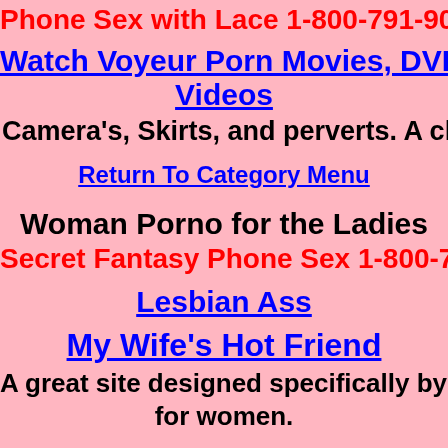Phone Sex with Lace 1-800-791-90
Watch Voyeur Porn Movies, DVD, HD V Videos
Camera's, Skirts, and perverts. A class
Return To Category Menu
Woman Porno for the Ladies
Secret Fantasy Phone Sex 1-800-791
Lesbian Ass
My Wife's Hot Friend
A great site designed specifically by w for women.